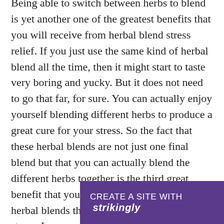Being able to switch between herbs to blend is yet another one of the greatest benefits that you will receive from herbal blend stress relief. If you just use the same kind of herbal blend all the time, then it might start to taste very boring and yucky. But it does not need to go that far, for sure. You can actually enjoy yourself blending different herbs to produce a great cure for your stress. So the fact that these herbal blends are not just one final blend but that you can actually blend the different herbs together is the third great benefit that you will surely receive with herbal blends that will surely relieve your stress. Learn more from https://... tech...
[Figure (other): Purple banner overlay at bottom right reading 'CREATE A SITE WITH strikingly']